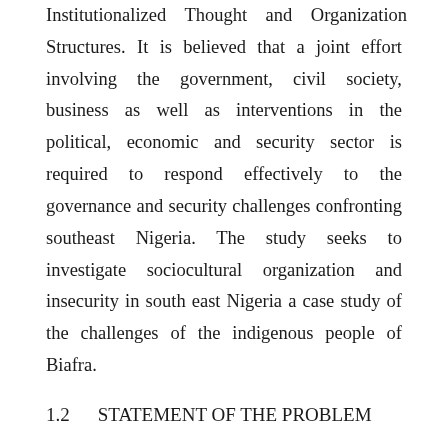Institutionalized Thought and Organization Structures. It is believed that a joint effort involving the government, civil society, business as well as interventions in the political, economic and security sector is required to respond effectively to the governance and security challenges confronting southeast Nigeria. The study seeks to investigate sociocultural organization and insecurity in south east Nigeria a case study of the challenges of the indigenous people of Biafra.
1.2      STATEMENT OF THE PROBLEM
The level of agitation and violence in the southeast by sociocultural organization as the indigenous people of Biafra constitutes serious security and